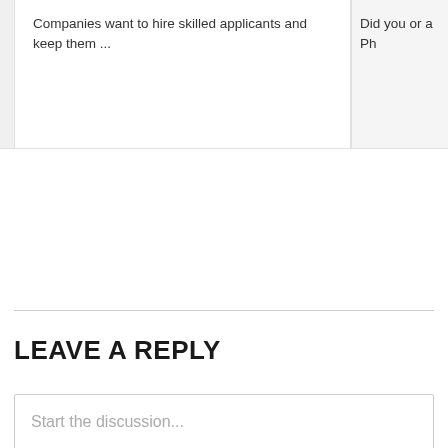Companies want to hire skilled applicants and keep them ...
Did you or a Ph
LEAVE A REPLY
Start the discussion...
Subscribe